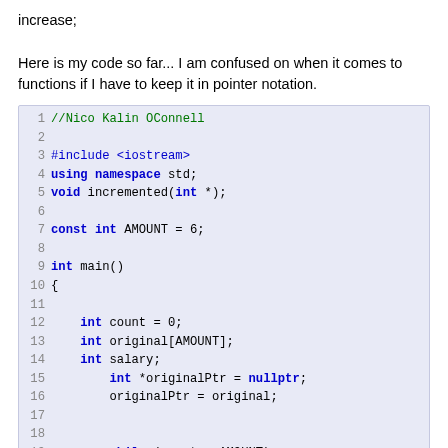increase;
Here is my code so far... I am confused on when it comes to functions if I have to keep it in pointer notation.
[Figure (screenshot): C++ code snippet with syntax highlighting on a light blue background, showing lines 1-19 of a program by Nico Kalin OConnell, including includes, a constant, main function, variable declarations, and a while loop.]